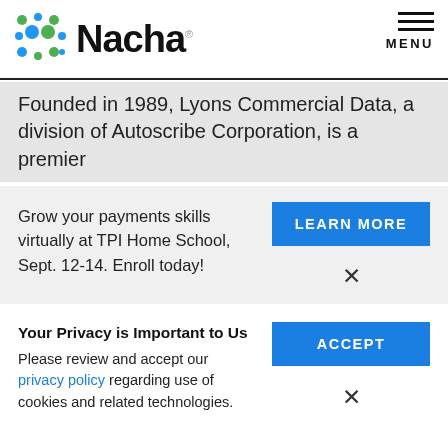[Figure (logo): Nacha logo with colorful dot grid and bold Nacha wordmark]
MENU
Founded in 1989, Lyons Commercial Data, a division of Autoscribe Corporation, is a premier
Grow your payments skills virtually at TPI Home School, Sept. 12-14. Enroll today!
LEARN MORE
Your Privacy is Important to Us
Please review and accept our privacy policy regarding use of cookies and related technologies.
ACCEPT